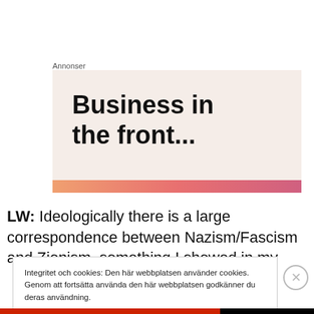Annonser
[Figure (illustration): Advertisement banner with light pink/beige background and bold text 'Business in the front...' with a gradient stripe at the bottom in orange-pink tones.]
LW: Ideologically there is a large correspondence between Nazism/Fascism and Zionism, something I showed in my
Integritet och cookies: Den här webbplatsen använder cookies. Genom att fortsätta använda den här webbplatsen godkänner du deras användning.
Om du vill veta mer, inklusive hur du kontrollerar cookies, se: Cookie-policy
Stäng och acceptera